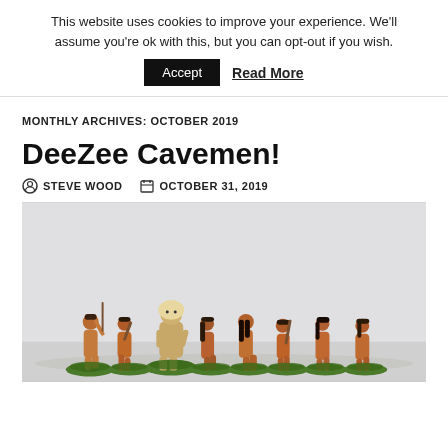This website uses cookies to improve your experience. We'll assume you're ok with this, but you can opt-out if you wish.
Accept  Read More
MONTHLY ARCHIVES: OCTOBER 2019
DeeZee Cavemen!
STEVE WOOD   OCTOBER 31, 2019
[Figure (photo): Painted miniature cavemen figurines on bases with grass tufts, photographed against a light grey background. Group of approximately 9 caveman figures in dynamic poses holding clubs and spears.]